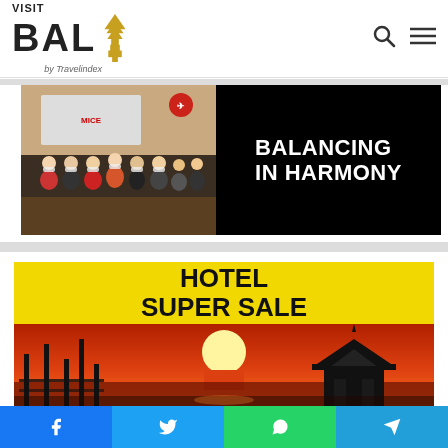VISIT BALI by Travelindex
[Figure (photo): Group of people wearing masks posed in front of a banner, next to bold white text on black background reading BALANCING IN HARMONY]
[Figure (photo): Hotel Super Sale promotional banner with yellow background showing text HOTEL SUPER SALE and a sunset silhouette scene below]
Social share bar: Facebook, Twitter, WhatsApp, Telegram